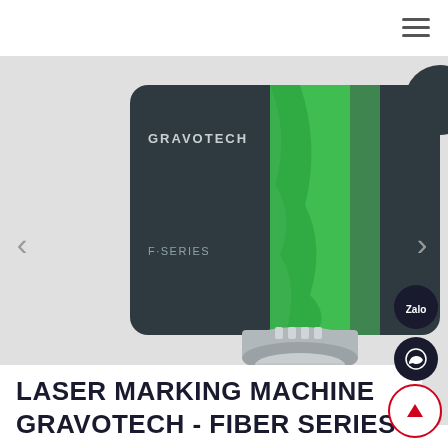[Figure (photo): Gravotech F-Series laser marking machine head unit, dark gray and green color, photographed against a light gray background with carousel navigation arrows and pagination dots.]
LASER MARKING MACHINE GRAVOTECH - FIBER SERIES